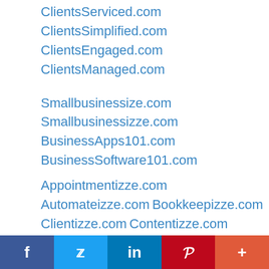ClientsServiced.com
ClientsSimplified.com
ClientsEngaged.com
ClientsManaged.com
Smallbusinessize.com
Smallbusinessizze.com
BusinessApps101.com
BusinessSoftware101.com
Appointmentizze.com
Automateizze.com
Bookkeepizze.com
Clientizze.com
Contentizze.com
Customerizze.com
Domainizze.com
Ecommerceizze.com